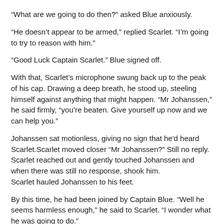“What are we going to do then?” asked Blue anxiously.
“He doesn’t appear to be armed,” replied Scarlet. “I’m going to try to reason with him.”
“Good Luck Captain Scarlet.” Blue signed off.
With that, Scarlet’s microphone swung back up to the peak of his cap. Drawing a deep breath, he stood up, steeling himself against anything that might happen. “Mr Johanssen,” he said firmly, “you’re beaten. Give yourself up now and we can help you.”
Johanssen sat motionless, giving no sign that he'd heard Scarlet.Scarlet moved closer “Mr Johanssen?” Still no reply. Scarlet reached out and gently touched Johanssen and when there was still no response, shook him.
Scarlet hauled Johanssen to his feet.
By this time, he had been joined by Captain Blue. “Well he seems harmless enough,” he said to Scarlet. “I wonder what he was going to do.”
“I don’t know,” replied Scarlet, “perhaps he was going to -” He suddenly noticed a wisp of smoke “It’s a booby trap!” he yelled. “Get out of here all of you!”